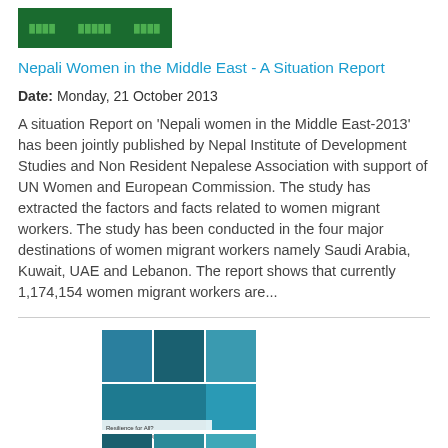[Figure (illustration): Green book cover thumbnail with small text labels]
Nepali Women in the Middle East - A Situation Report
Date: Monday, 21 October 2013
A situation Report on 'Nepali women in the Middle East-2013' has been jointly published by Nepal Institute of Development Studies and Non Resident Nepalese Association with support of UN Women and European Commission. The study has extracted the factors and facts related to women migrant workers. The study has been conducted in the four major destinations of women migrant workers namely Saudi Arabia, Kuwait, UAE and Lebanon. The report shows that currently 1,174,154 women migrant workers are...
[Figure (illustration): Book cover for 'Resilience for All? Towards Gender-Responsive Social Protection in South-East Asia' showing photo collage in teal/blue tones]
Resilience for All? Towards Gender-Responsive Social Protection in South-East Asia